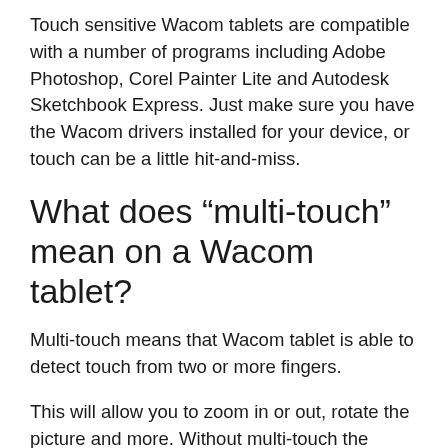Touch sensitive Wacom tablets are compatible with a number of programs including Adobe Photoshop, Corel Painter Lite and Autodesk Sketchbook Express. Just make sure you have the Wacom drivers installed for your device, or touch can be a little hit-and-miss.
What does “multi-touch” mean on a Wacom tablet?
Multi-touch means that Wacom tablet is able to detect touch from two or more fingers.
This will allow you to zoom in or out, rotate the picture and more. Without multi-touch the Wacom tablet is limited to one finger touch only, just allowing you to pan around